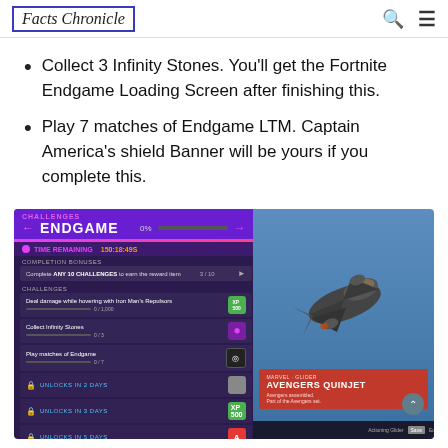Facts Chronicle
Collect 3 Infinity Stones. You'll get the Fortnite Endgame Loading Screen after finishing this.
Play 7 matches of Endgame LTM. Captain America's shield Banner will be yours if you complete this.
[Figure (screenshot): Screenshot of Fortnite Endgame Challenges UI showing challenge list including collecting Infinity Stones and playing Endgame LTM matches, alongside an image of the Avengers Quinjet glider reward.]